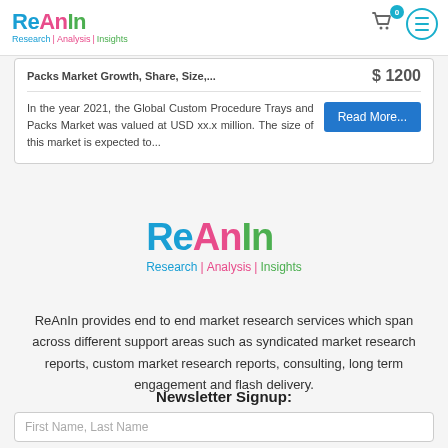ReAnIn - Research | Analysis | Insights
Packs Market Growth, Share, Size,... $ 1200
In the year 2021, the Global Custom Procedure Trays and Packs Market was valued at USD xx.x million. The size of this market is expected to...
[Figure (logo): ReAnIn logo with tagline Research | Analysis | Insights]
ReAnIn provides end to end market research services which span across different support areas such as syndicated market research reports, custom market research reports, consulting, long term engagement and flash delivery.
Newsletter Signup:
First Name, Last Name